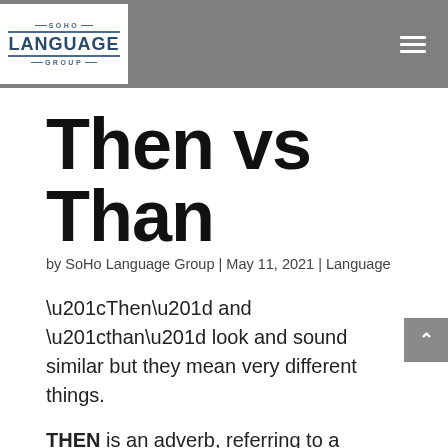SOHO LANGUAGE GROUP
Then vs Than
by SoHo Language Group | May 11, 2021 | Language
“Then” and “than” look and sound similar but they mean very different things.
THEN is an adverb, referring to a certain time,